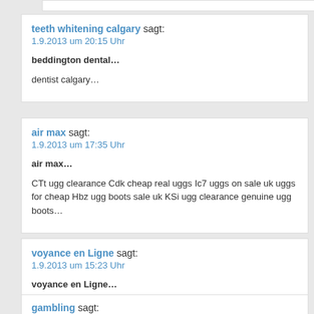teeth whitening calgary sagt:
1.9.2013 um 20:15 Uhr
beddington dental…
dentist calgary…
air max sagt:
1.9.2013 um 17:35 Uhr
air max…
CTt ugg clearance Cdk cheap real uggs Ic7 uggs on sale uk uggs for cheap Hbz ugg boots sale uk KSi ugg clearance genuine ugg boots…
voyance en Ligne sagt:
1.9.2013 um 15:23 Uhr
voyance en Ligne…
Hidden Japanese Restaurant/Lounge « China, Asia, Climbing
gambling sagt:
1.9.2013 um 13:58 Uhr